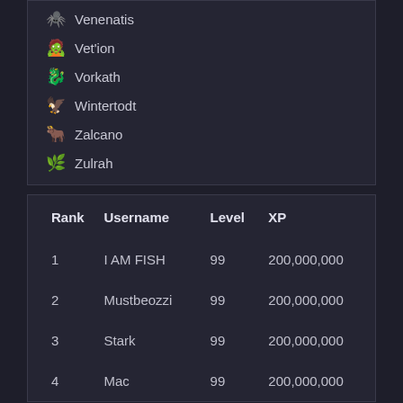Venenatis
Vet'ion
Vorkath
Wintertodt
Zalcano
Zulrah
| Rank | Username | Level | XP |
| --- | --- | --- | --- |
| 1 | I AM FISH | 99 | 200,000,000 |
| 2 | Mustbeozzi | 99 | 200,000,000 |
| 3 | Stark | 99 | 200,000,000 |
| 4 | Mac | 99 | 200,000,000 |